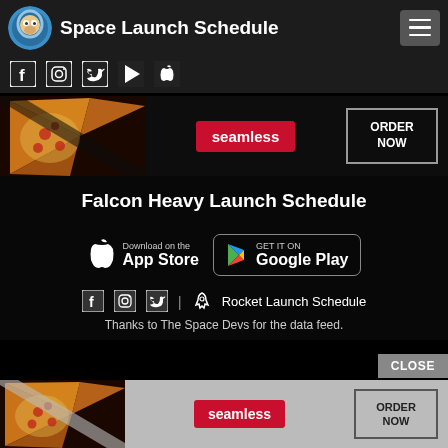Space Launch Schedule
[Figure (screenshot): Social media icons row: Facebook, Instagram, Twitter, Google Play, Apple]
[Figure (infographic): Seamless food ordering ad banner with pizza image, Seamless logo badge, ORDER NOW button]
Falcon Heavy Launch Schedule
[Figure (infographic): App download buttons: Download on the App Store and GET IT ON Google Play]
| 🚀 Rocket Launch Schedule
Thanks to The Space Devs for the data feed.
[Figure (infographic): Bottom Seamless food ordering ad banner with pizza image, Seamless logo badge, ORDER NOW button]